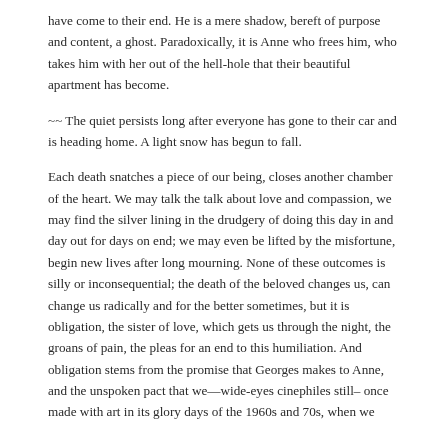have come to their end. He is a mere shadow, bereft of purpose and content, a ghost. Paradoxically, it is Anne who frees him, who takes him with her out of the hell-hole that their beautiful apartment has become.
~~ The quiet persists long after everyone has gone to their car and is heading home. A light snow has begun to fall.
Each death snatches a piece of our being, closes another chamber of the heart. We may talk the talk about love and compassion, we may find the silver lining in the drudgery of doing this day in and day out for days on end; we may even be lifted by the misfortune, begin new lives after long mourning. None of these outcomes is silly or inconsequential; the death of the beloved changes us, can change us radically and for the better sometimes, but it is obligation, the sister of love, which gets us through the night, the groans of pain, the pleas for an end to this humiliation. And obligation stems from the promise that Georges makes to Anne, and the unspoken pact that we—wide-eyes cinephiles still– once made with art in its glory days of the 1960s and 70s, when we